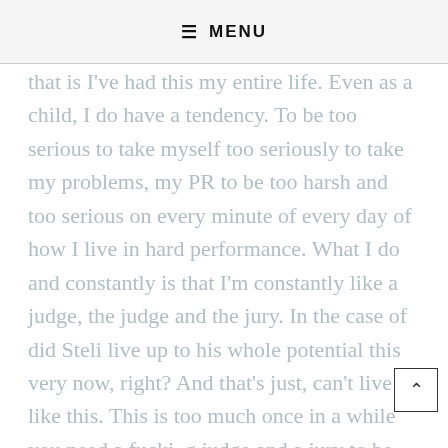≡ MENU
that is I've had this my entire life. Even as a child, I do have a tendency. To be too serious to take myself too seriously to take my problems, my PR to be too harsh and too serious on every minute of every day of how I live in hard performance. What I do and constantly is that I'm constantly like a judge, the judge and the jury. In the case of did Steli live up to his whole potential this very now, right? And that's just, can't live like this. This is too much once in a while you need a fucking judge and a jury to be like, fucking your ass is in jail.